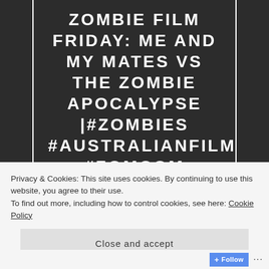ZOMBIE FILM FRIDAY: ME AND MY MATES VS THE ZOMBIE APOCALYPSE |#ZOMBIES #AUSTRALIANFILM #ZOMCOM
Privacy & Cookies: This site uses cookies. By continuing to use this website, you agree to their use.
To find out more, including how to control cookies, see here: Cookie Policy
Close and accept